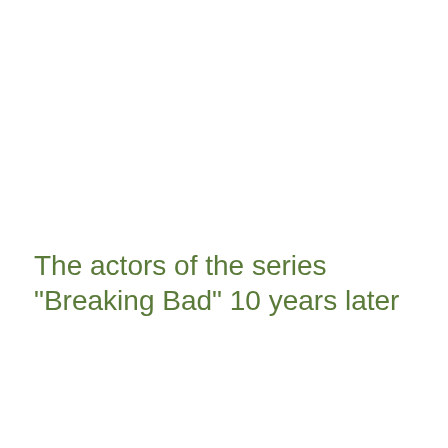The actors of the series "Breaking Bad" 10 years later